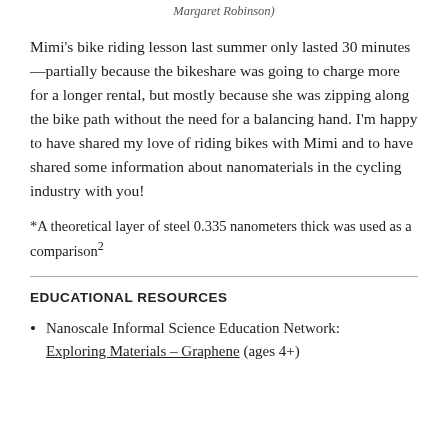Margaret Robinson)
Mimi's bike riding lesson last summer only lasted 30 minutes—partially because the bikeshare was going to charge more for a longer rental, but mostly because she was zipping along the bike path without the need for a balancing hand. I'm happy to have shared my love of riding bikes with Mimi and to have shared some information about nanomaterials in the cycling industry with you!
*A theoretical layer of steel 0.335 nanometers thick was used as a comparison²
EDUCATIONAL RESOURCES
Nanoscale Informal Science Education Network: Exploring Materials – Graphene (ages 4+)